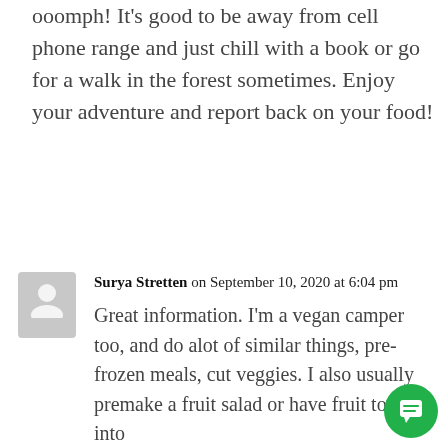ooomph! It’s good to be away from cell phone range and just chill with a book or go for a walk in the forest sometimes. Enjoy your adventure and report back on your food!
Surya Stretten on September 10, 2020 at 6:04 pm
Great information. I’m a vegan camper too, and do alot of similar things, pre-frozen meals, cut veggies. I also usually premake a fruit salad or have fruit to cut into